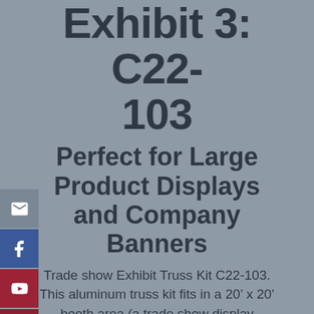Exhibit 3: C22-103
Perfect for Large Product Displays and Company Banners
Trade show Exhibit Truss Kit C22-103.  This aluminum truss kit fits in a 20’ x 20’ booth area (a trade show display standard). The C22-103 is one of our most popular trade show booths for its versatility and cost effective method of packing. Triangle truss nests together when packing, creating a very small footprint. This booth is very similar to the Truss Kit C21-103, except that it features an extra leg in the back attached with extender hook clamps.